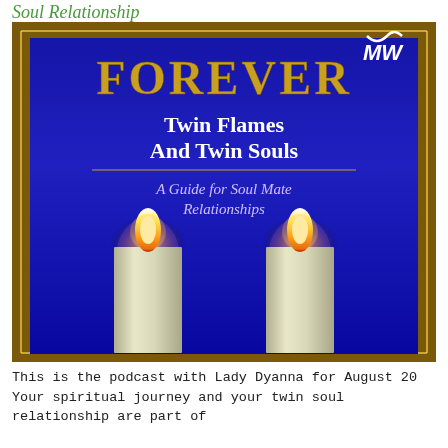Soul Relationship
[Figure (photo): Book cover for 'FOREVER Twin Flames And Twin Souls - A Guide for Soul Mate Relationships' showing two white candles against a blue background with ornate gold border frame. A small MW logo appears in the top right corner.]
This is the podcast with Lady Dyanna for August 20 Your spiritual journey and your twin soul relationship are part of